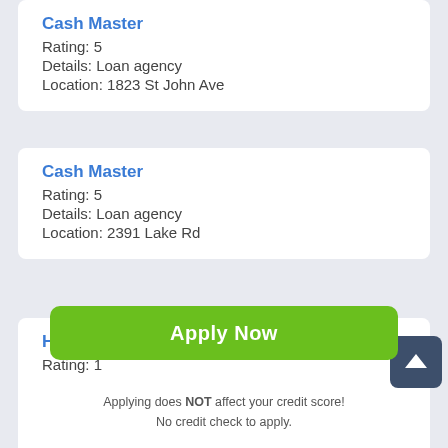Cash Master
Rating: 5
Details: Loan agency
Location: 1823 St John Ave
Cash Master
Rating: 5
Details: Loan agency
Location: 2391 Lake Rd
Heights Finance Corporation
Rating: 1
Apply Now
Applying does NOT affect your credit score!
No credit check to apply.